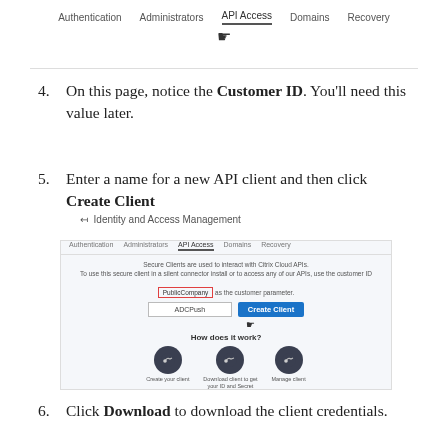[Figure (screenshot): Navigation bar showing tabs: Authentication, Administrators, API Access (active/selected with cursor), Domains, Recovery]
4. On this page, notice the Customer ID. You'll need this value later.
5. Enter a name for a new API client and then click Create Client
← Identity and Access Management
[Figure (screenshot): Screenshot of Citrix Cloud API Access page showing secure clients description, highlighted customer ID field (PublicCompany), input field with ADCPush text, Create Client blue button with cursor, and How does it work section with three circular icons labeled Create your client, Download client to get your ID and Secret, Manage client]
6. Click Download to download the client credentials.